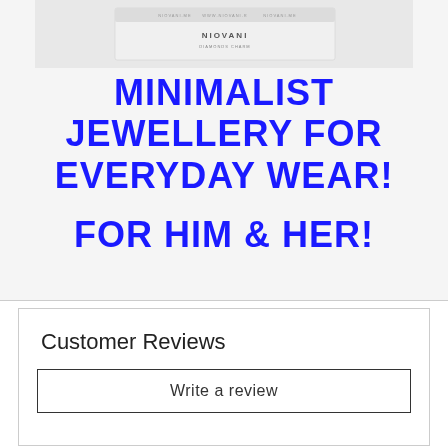[Figure (photo): Product boxes for NIOVANI jewellery brand displayed on white fabric background]
MINIMALIST JEWELLERY FOR EVERYDAY WEAR! FOR HIM & HER!
Customer Reviews
Write a review